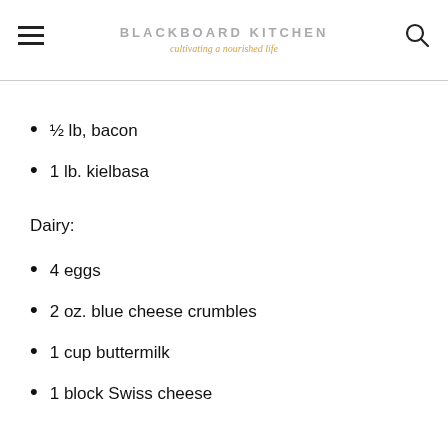BLACKBOARD KITCHEN
cultivating a nourished life
½ lb, bacon
1 lb. kielbasa
Dairy:
4 eggs
2 oz. blue cheese crumbles
1 cup buttermilk
1 block Swiss cheese